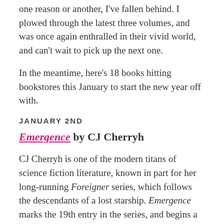one reason or another, I've fallen behind. I plowed through the latest three volumes, and was once again enthralled in their vivid world, and can't wait to pick up the next one.
In the meantime, here's 18 books hitting bookstores this January to start the new year off with.
JANUARY 2ND
Emergence by CJ Cherryh
CJ Cherryh is one of the modern titans of science fiction literature, known in part for her long-running Foreigner series, which follows the descendants of a lost starship. Emergence marks the 19th entry in the series, and begins a new adventure for a human diplomat and Bren Cameron, bringing him t...